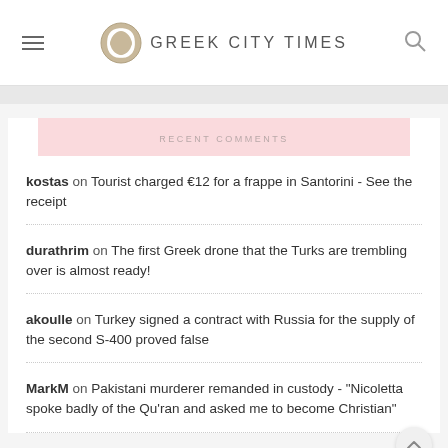GREEK CITY TIMES
RECENT COMMENTS
kostas on Tourist charged €12 for a frappe in Santorini - See the receipt
durathrim on The first Greek drone that the Turks are trembling over is almost ready!
akoulle on Turkey signed a contract with Russia for the supply of the second S-400 proved false
MarkM on Pakistani murderer remanded in custody - "Nicoletta spoke badly of the Qu'ran and asked me to become Christian"